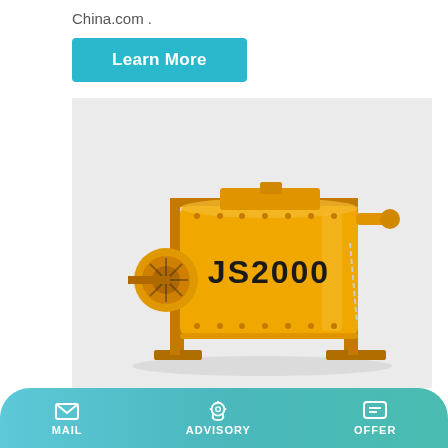China.com .
Learn More
[Figure (photo): Yellow JS2000 twin-shaft concrete mixer machine on white/grey background. Large cylindrical drum labeled JS2000 in bold black text, with motor assembly on the left, structural frame, and mixing shaft visible.]
Self Loading Concrete Mixers Can Self-Loading, Mixing, And
MAIL   ADVISORY   OFFER